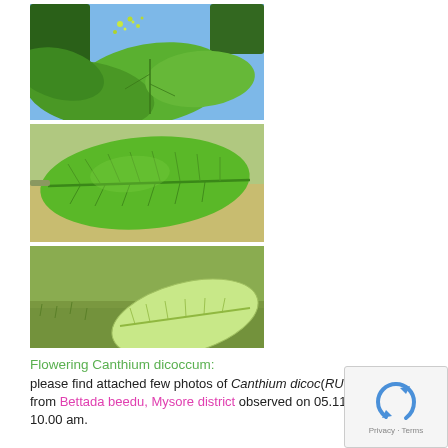[Figure (photo): Top photo: Flowering Canthium dicoccum plant with large green leaves and small flower clusters, photographed against a blue sky background.]
[Figure (photo): Middle photo: Close-up of a single large green Canthium dicoccum leaf showing venation detail, with out-of-focus green background.]
[Figure (photo): Bottom photo: Canthium dicoccum leaf lying on grass/ground, lighter green colour, showing underside or pallid surface.]
Flowering Canthium dicoccum:
please find attached few photos of Canthium dicoccum (RUBIACEAE) from Bettada beedu, Mysore district observed on 05.11.2011 at 10.00 am.